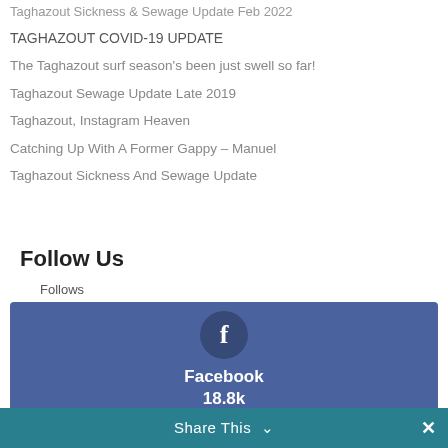Taghazout Sickness & Sewage Update Feb 2022
TAGHAZOUT COVID-19 UPDATE
The Taghazout surf season's been just swell so far!
Taghazout Sewage Update Late 2019
Taghazout, Instagram Heaven
Catching Up With A Former Gappy – Manuel
Taghazout Sickness And Sewage Update
Follow Us
Follows
[Figure (infographic): Facebook social media follow box showing Facebook logo icon in circle, label 'Facebook', count '18.8k', and 'Followers' text on dark blue background]
Share This ∨